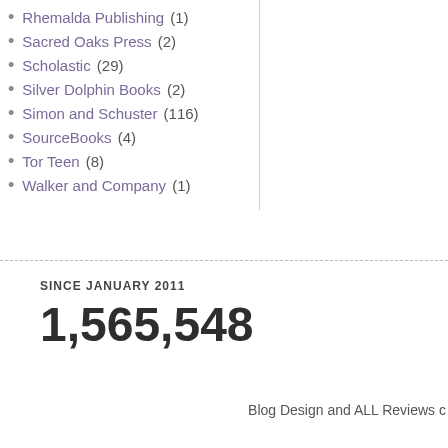Rhemalda Publishing (1)
Sacred Oaks Press (2)
Scholastic (29)
Silver Dolphin Books (2)
Simon and Schuster (116)
SourceBooks (4)
Tor Teen (8)
Walker and Company (1)
SINCE JANUARY 2011
1,565,548
Blog Design and ALL Reviews c